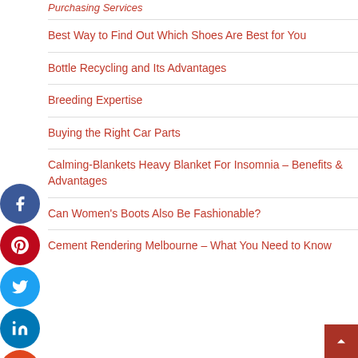Best Way to Find Out Which Shoes Are Best for You
Bottle Recycling and Its Advantages
Breeding Expertise
Buying the Right Car Parts
Calming-Blankets Heavy Blanket For Insomnia – Benefits & Advantages
Can Women's Boots Also Be Fashionable?
Cement Rendering Melbourne – What You Need to Know